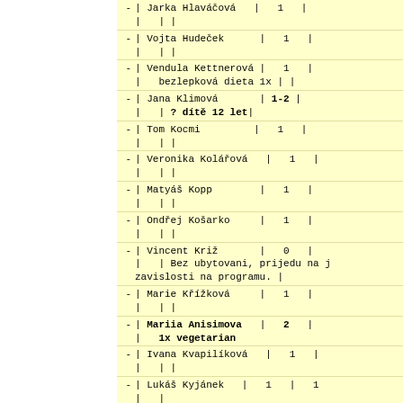| Name | Count | Notes |
| --- | --- | --- |
| Jarka Hlaváčová | 1 |  |
| Vojta Hudeček | 1 |  |
| Vendula Kettnerová | 1 | bezlepková dieta 1x |
| Jana Klimová | 1-2 | ? dítě 12 let |
| Tom Kocmi | 1 |  |
| Veronika Kolářová | 1 |  |
| Matyáš Kopp | 1 |  |
| Ondřej Košarko | 1 |  |
| Vincent Križ | 0 | Bez ubytovani, prijedu na j zavislosti na programu. |
| Marie Křížková | 1 |  |
| Mariia Anisimova | 2 | 1x vegetarian |
| Ivana Kvapilíková | 1 |  |
| Lukáš Kyjánek | 1 | 1 |
| Katka Lesch (Veselovská) | 3 |  |